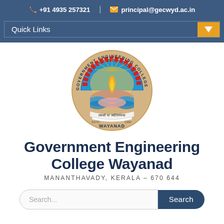+91 4935 257321 | principal@gecwyd.ac.in
Quick Links
[Figure (logo): Circular seal/logo of Government Engineering College Wayanad with a flame, gear border, water waves, and Sanskrit text 'tamaso ma jyotirgamaya'. Text around border reads GOVERNMENT ENGINEERING COLLEGE. Bottom text: WAYANAD, ESTD. 1999.]
Government Engineering College Wayanad
MANANTHAVADY, KERALA – 670 644